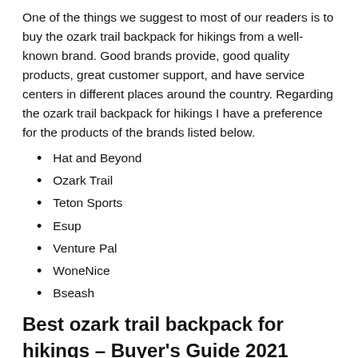One of the things we suggest to most of our readers is to buy the ozark trail backpack for hikings from a well-known brand. Good brands provide, good quality products, great customer support, and have service centers in different places around the country. Regarding the ozark trail backpack for hikings I have a preference for the products of the brands listed below.
Hat and Beyond
Ozark Trail
Teton Sports
Esup
Venture Pal
WoneNice
Bseash
Best ozark trail backpack for hikings – Buyer's Guide 2021
There are some things you should consider when buying a